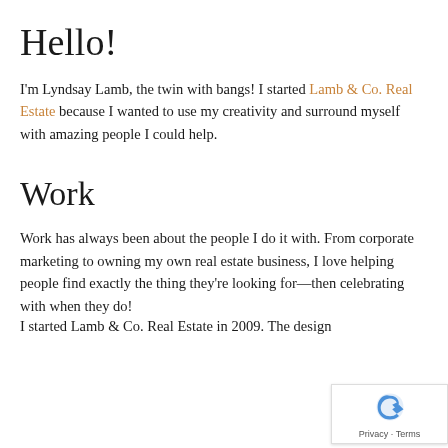Hello!
I'm Lyndsay Lamb, the twin with bangs! I started Lamb & Co. Real Estate because I wanted to use my creativity and surround myself with amazing people I could help.
Work
Work has always been about the people I do it with. From corporate marketing to owning my own real estate business, I love helping people find exactly the thing they're looking for—then celebrating with when they do!
I started Lamb & Co. Real Estate in 2009. The design